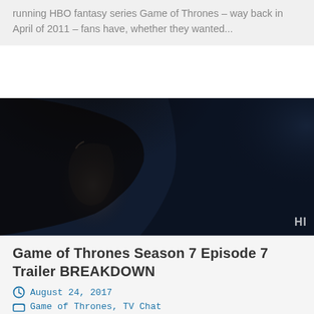running HBO fantasy series Game of Thrones – way back in April of 2011 – fans have, whether they wanted...
[Figure (photo): A dark, moody screenshot from Game of Thrones showing a character in a hood with blue-toned lighting, with 'HI' watermark in bottom right corner]
Game of Thrones Season 7 Episode 7 Trailer BREAKDOWN
August 24, 2017
Game of Thrones, TV Chat
In addition to our review of episode 6 of Game of Thrones, Kenny (@axechucker) and I did a breakdown of the trailer for